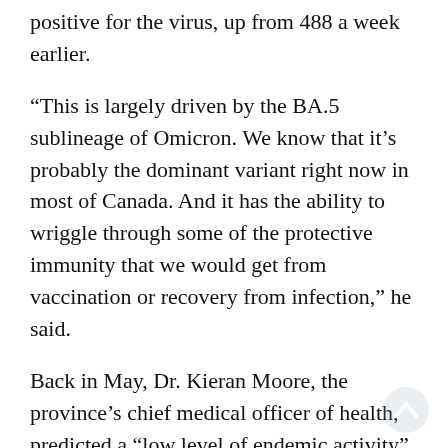positive for the virus, up from 488 a week earlier.
“This is largely driven by the BA.5 sublineage of Omicron. We know that it’s probably the dominant variant right now in most of Canada. And it has the ability to wriggle through some of the protective immunity that we would get from vaccination or recovery from infection,” he said.
Back in May, Dr. Kieran Moore, the province’s chief medical officer of health, predicted a “low level of endemic activity” throughout the summer followed by higher transmission in the fall due to an increase of indoor activities. But since then, BA.5 – the subvariant with the fastest growth rate – has rapidly spread in Ontario.
Dr. Sumon Chakrabarti, an infectious diseases specialist in Mississauga, said while BA. 5 has largely